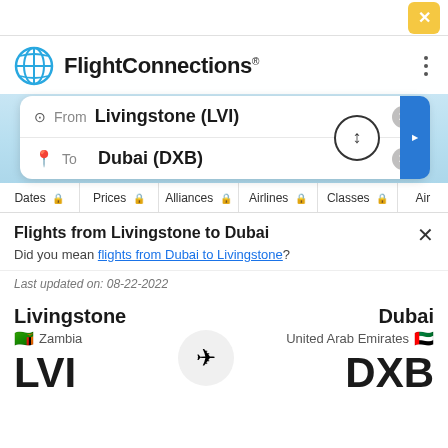[Figure (screenshot): FlightConnections website screenshot showing flight search from Livingstone (LVI) to Dubai (DXB) with filter tabs and airport info]
FlightConnections
From  Livingstone (LVI)
To  Dubai (DXB)
Dates  Prices  Alliances  Airlines  Classes  Air
Flights from Livingstone to Dubai
Did you mean flights from Dubai to Livingstone?
Last updated on: 08-22-2022
Livingstone
Zambia
LVI
Dubai
United Arab Emirates
DXB